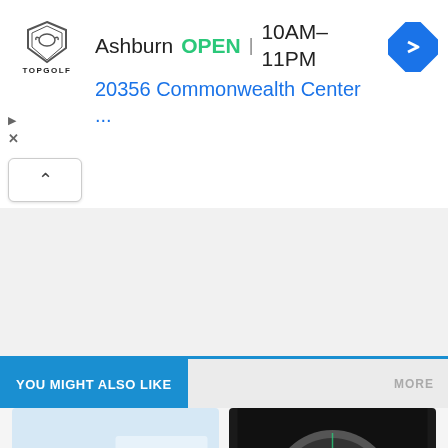[Figure (screenshot): Topgolf advertisement banner showing Ashburn location OPEN 10AM-11PM, address 20356 Commonwealth Center ..., with a navigation arrow icon and Topgolf shield logo]
[Figure (screenshot): Collapsed ad section with an upward chevron button]
YOU MIGHT ALSO LIKE
MORE
[Figure (screenshot): Imagia product card showing FOR INTERVENTIONAL & ... text with blue medical imagery, badge number 50]
Imagia
Compare
[Figure (photo): Qure product card showing a brain CT scan with highlighted region in dark background, badge number 53]
Qure
Compare